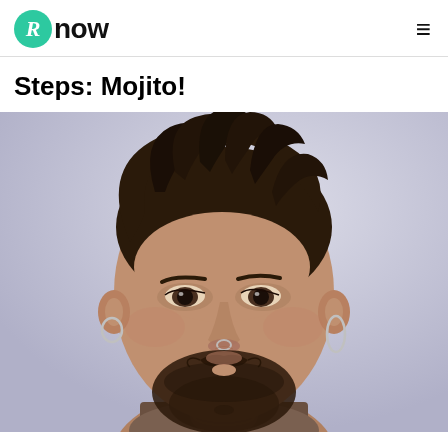Rnow
Steps: Mojito!
[Figure (photo): Close-up portrait of a young man with styled dark hair swept upward, beard, nose ring, hoop earrings, and a necklace, against a light lavender-gray background.]